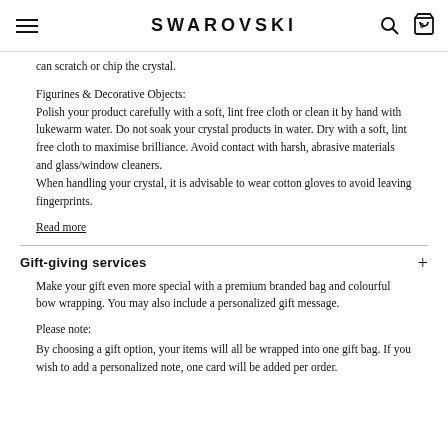SWAROVSKI
can scratch or chip the crystal.
Figurines & Decorative Objects:
Polish your product carefully with a soft, lint free cloth or clean it by hand with lukewarm water. Do not soak your crystal products in water. Dry with a soft, lint free cloth to maximise brilliance. Avoid contact with harsh, abrasive materials and glass/window cleaners.
When handling your crystal, it is advisable to wear cotton gloves to avoid leaving fingerprints.
Read more
Gift-giving services
Make your gift even more special with a premium branded bag and colourful bow wrapping. You may also include a personalized gift message.
Please note:
By choosing a gift option, your items will all be wrapped into one gift bag. If you wish to add a personalized note, one card will be added per order.